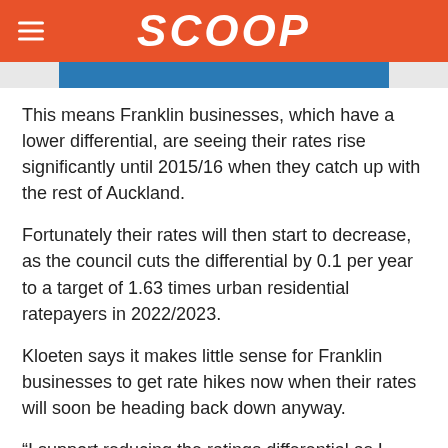SCOOP
[Figure (other): Blue image bar partial crop at top of article]
This means Franklin businesses, which have a lower differential, are seeing their rates rise significantly until 2015/16 when they catch up with the rest of Auckland.
Fortunately their rates will then start to decrease, as the council cuts the differential by 0.1 per year to a target of 1.63 times urban residential ratepayers in 2022/2023.
Kloeten says it makes little sense for Franklin businesses to get rate hikes now when their rates will soon be heading back down anyway.
“I support reducing the ratings differential as I believe it is unfair to slug businesses with outsized rates bills, not to mention bad for economic growth and job creation,” he says.